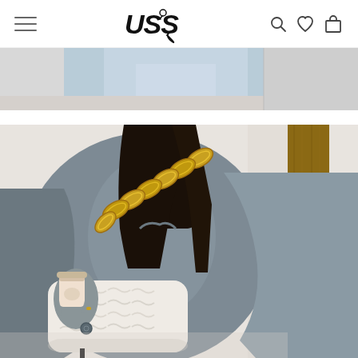[Figure (screenshot): E-commerce website header with hamburger menu icon on left, 'USS' logo in center (bold italic with decorative swash), and search, heart/wishlist, and shopping bag icons on right]
[Figure (photo): Top portion of a product photo showing a person in a light blue/denim shirt from behind]
[Figure (photo): Main product photo: a person wearing a gray oversized jacket carrying a white fluffy/sherpa shoulder bag with a large chunky gold chain strap, holding a coffee cup, leaning against a wooden post/wall]